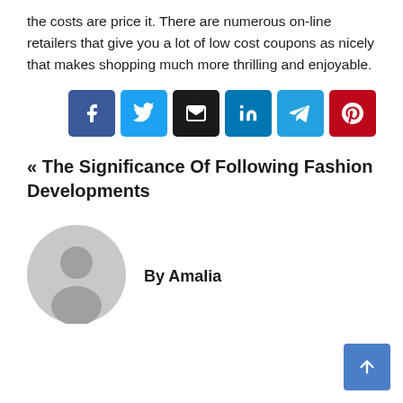the costs are price it. There are numerous on-line retailers that give you a lot of low cost coupons as nicely that makes shopping much more thrilling and enjoyable.
[Figure (other): Social share buttons: Facebook (blue), Twitter (light blue), Email (black), LinkedIn (blue), Telegram (light blue), Pinterest (red)]
« The Significance Of Following Fashion Developments
By Amalia
[Figure (illustration): Generic user avatar: grey circle with silhouette of person]